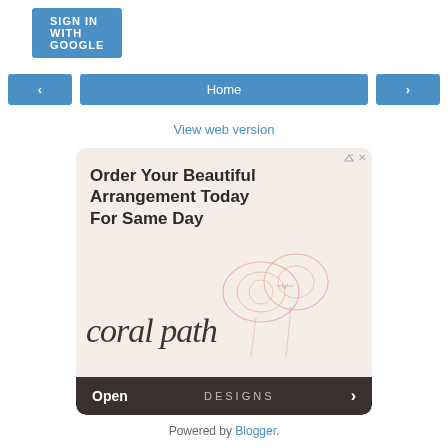[Figure (screenshot): Sign In with Google button (blue rounded rectangle)]
[Figure (screenshot): Navigation bar with left arrow, Home button, and right arrow buttons in blue]
View web version
[Figure (illustration): Advertisement for Coral Path Designs florist: 'Order Your Beautiful Arrangement Today For Same Day' with floral illustration and 'Open DESIGNS' bar at bottom]
Powered by Blogger.